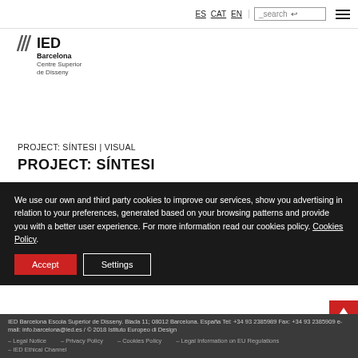ES  CAT  EN  _search  [menu]
[Figure (logo): IED Barcelona Centre Superior de Disseny logo with diagonal lines graphic mark]
PROJECT: SÍNTESI | VISUAL
PROJECT: SÍNTESI
We use our own and third party cookies to improve our services, show you advertising in relation to your preferences, generated based on your browsing patterns and provide you with a better user experience. For more information read our cookies policy. Cookies Policy.
IED Barcelona Escola Superior de Disseny. Blada 11; 08012 Barcelona. España Tel: +34 93 2385989 Fax: +34 93 2385909 e-mail: info.barcelona@ied.es / © 2018 Istituto Europeo di Design – Legal Notice  – Privacy Policy  – Cookies Policy  – Legal Information on EU Regulations  – IED Ethical Channel